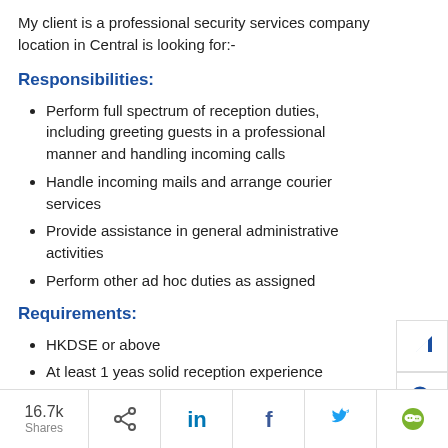My client is a professional security services company location in Central is looking for:-
Responsibilities:
Perform full spectrum of reception duties, including greeting guests in a professional manner and handling incoming calls
Handle incoming mails and arrange courier services
Provide assistance in general administrative activities
Perform other ad hoc duties as assigned
Requirements:
HKDSE or above
At least 1 yeas solid reception experience
Excellent in written and spoken English & Chinese
16.7k Shares